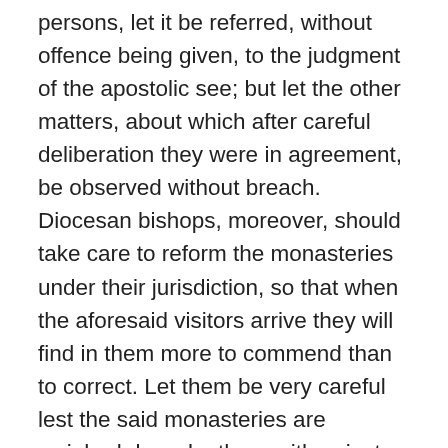persons, let it be referred, without offence being given, to the judgment of the apostolic see; but let the other matters, about which after careful deliberation they were in agreement, be observed without breach. Diocesan bishops, moreover, should take care to reform the monasteries under their jurisdiction, so that when the aforesaid visitors arrive they will find in them more to commend than to correct. Let them be very careful lest the said monasteries are weighed down by them with unjust burdens, for just as we wish the rights of superiors to be upheld so we do not wish to support wrongs done to subjects. Furthermore, we strictly command both diocesan bishops and those who preside at chapters to restrain by ecclesiastical censure, without appeal, advocates, patrons, lords' deputies, governors, officials, magnates, knights, and any other people, from daring to cause harm to monasteries in respect of their persons and their goods. Let them not fail to compel such